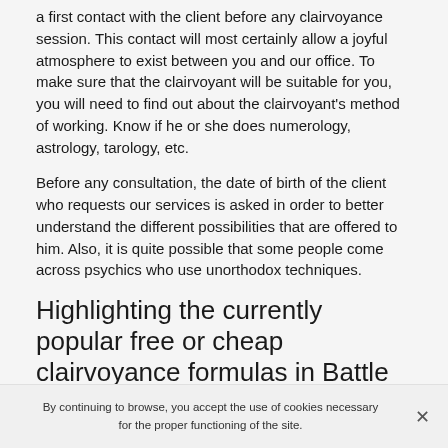a first contact with the client before any clairvoyance session. This contact will most certainly allow a joyful atmosphere to exist between you and our office. To make sure that the clairvoyant will be suitable for you, you will need to find out about the clairvoyant's method of working. Know if he or she does numerology, astrology, tarology, etc.
Before any consultation, the date of birth of the client who requests our services is asked in order to better understand the different possibilities that are offered to him. Also, it is quite possible that some people come across psychics who use unorthodox techniques.
Highlighting the currently popular free or cheap clairvoyance formulas in Battle Ground, WA
By continuing to browse, you accept the use of cookies necessary for the proper functioning of the site.